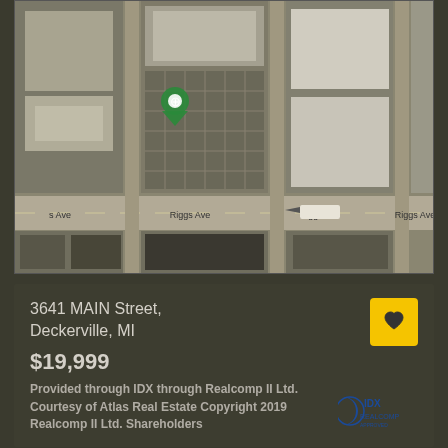[Figure (map): Aerial/satellite map view showing Riggs Ave and surrounding buildings with a green location pin marker]
3641 MAIN Street,
Deckerville, MI
$19,999
Provided through IDX through Realcomp II Ltd. Courtesy of Atlas Real Estate Copyright 2019 Realcomp II Ltd. Shareholders
[Figure (photo): Partial view of a property photo showing trees/vegetation at the bottom of the page]